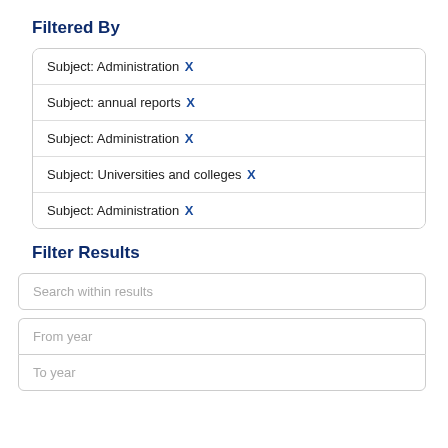Filtered By
Subject: Administration X
Subject: annual reports X
Subject: Administration X
Subject: Universities and colleges X
Subject: Administration X
Filter Results
Search within results
From year
To year